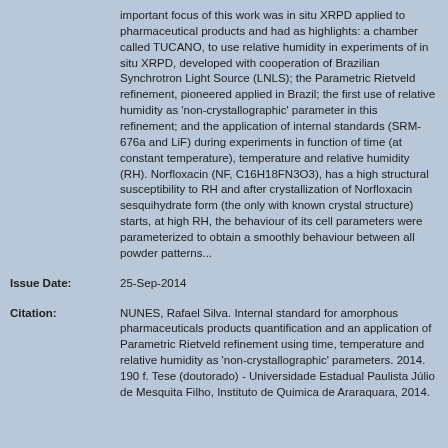important focus of this work was in situ XRPD applied to pharmaceutical products and had as highlights: a chamber called TUCANO, to use relative humidity in experiments of in situ XRPD, developed with cooperation of Brazilian Synchrotron Light Source (LNLS); the Parametric Rietveld refinement, pioneered applied in Brazil; the first use of relative humidity as 'non-crystallographic' parameter in this refinement; and the application of internal standards (SRM-676a and LiF) during experiments in function of time (at constant temperature), temperature and relative humidity (RH). Norfloxacin (NF, C16H18FN3O3), has a high structural susceptibility to RH and after crystallization of Norfloxacin sesquihydrate form (the only with known crystal structure) starts, at high RH, the behaviour of its cell parameters were parameterized to obtain a smoothly behaviour between all powder patterns...
Issue Date: 25-Sep-2014
Citation: NUNES, Rafael Silva. Internal standard for amorphous pharmaceuticals products quantification and an application of Parametric Rietveld refinement using time, temperature and relative humidity as 'non-crystallographic' parameters. 2014. 190 f. Tese (doutorado) - Universidade Estadual Paulista Júlio de Mesquita Filho, Instituto de Quimica de Araraquara, 2014.